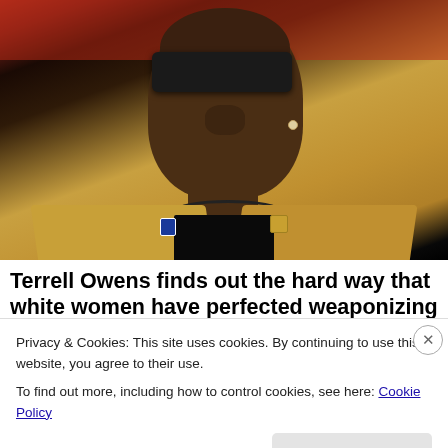[Figure (photo): Photo of Terrell Owens wearing dark sunglasses and a gold/yellow blazer with a black shirt underneath, standing on what appears to be a sports field with a reddish blurred background.]
Terrell Owens finds out the hard way that white women have perfected weaponizing their tea...
Privacy & Cookies: This site uses cookies. By continuing to use this website, you agree to their use.
To find out more, including how to control cookies, see here: Cookie Policy
Close and accept